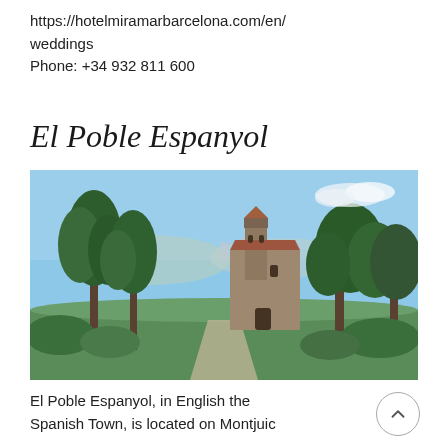https://hotelmiramarbarcelona.com/en/weddings
Phone: +34 932 811 600
El Poble Espanyol
[Figure (photo): Outdoor photograph of El Poble Espanyol showing a stone church/bell tower surrounded by tall trees (pines and Mediterranean vegetation) with the city of Barcelona visible in the background under a blue sky with light clouds.]
El Poble Espanyol, in English the Spanish Town, is located on Montjuic